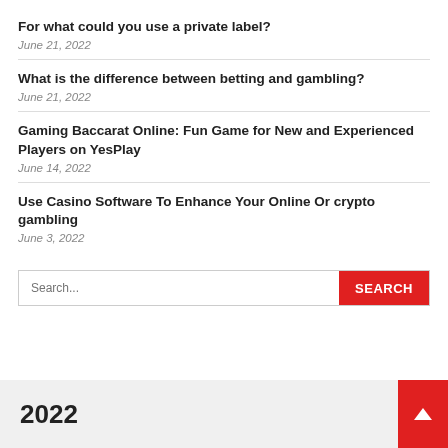For what could you use a private label?
June 21, 2022
What is the difference between betting and gambling?
June 21, 2022
Gaming Baccarat Online: Fun Game for New and Experienced Players on YesPlay
June 14, 2022
Use Casino Software To Enhance Your Online Or crypto gambling
June 3, 2022
Search...
2022